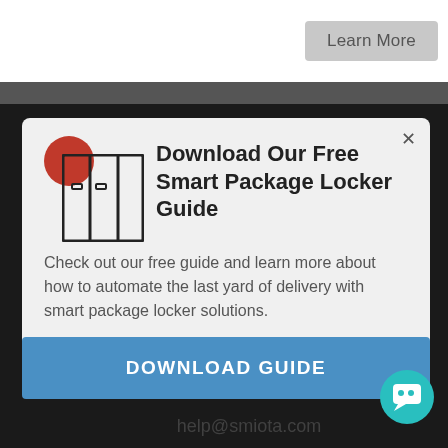[Figure (screenshot): Learn More button in top-right corner of page]
[Figure (illustration): Modal dialog with smart locker icon (red circle + locker SVG), title, body text, and download button overlay on dark background]
Download Our Free Smart Package Locker Guide
Check out our free guide and learn more about how to automate the last yard of delivery with smart package locker solutions.
DOWNLOAD GUIDE
(925) 270-4321
sales@smiota.com
help@smiota.com